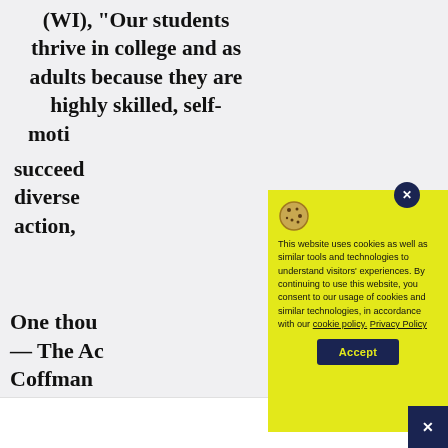(WI), “Our students thrive in college and as adults because they are highly skilled, self-motivated learners who know how to succeed … diverse … action,
One thou… — The Ac… Coffman
[Figure (screenshot): Cookie consent dialog with yellow background. Contains a cookie icon, text about website cookies and privacy policy, and an Accept button. There is also a dark blue close (x) button circle in the upper right corner.]